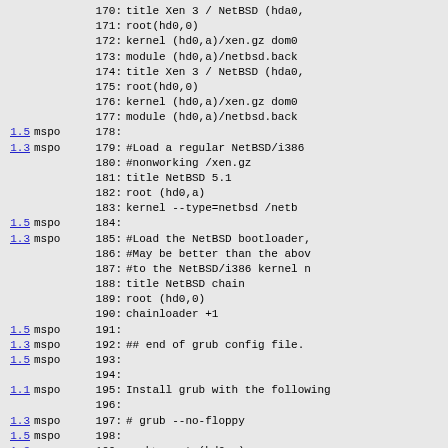Code listing lines 170-199 with version annotations (mspo). Shows GRUB configuration file content including Xen/NetBSD boot entries, NetBSD 5.1 entry, NetBSD chain entry, and grub install instructions.